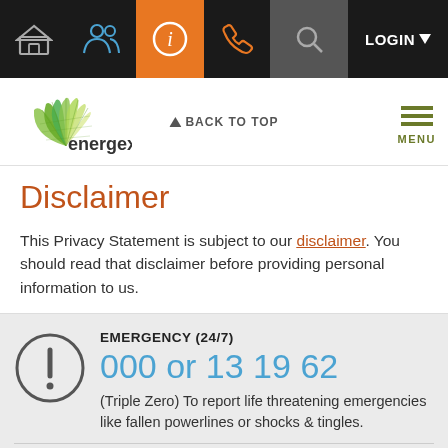Energex website navigation bar with home, people, info, phone icons and LOGIN
[Figure (logo): Energex logo with green fan/leaf graphic and text 'energex']
BACK TO TOP
Disclaimer
This Privacy Statement is subject to our disclaimer. You should read that disclaimer before providing personal information to us.
EMERGENCY (24/7)
000 or 13 19 62
(Triple Zero) To report life threatening emergencies like fallen powerlines or shocks & tingles.
POWER OUTAGES (24/7)